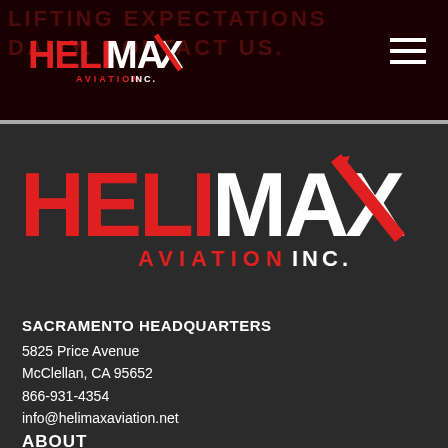LIFTING EXPECTATIONS DAILY. CONTACT US. HELIMAX AVIATION INC.
[Figure (logo): HeliMax Aviation Inc. large logo on dark background]
SACRAMENTO HEADQUARTERS
5825 Price Avenue
McClellan, CA 95652
866-931-4354
info@helimaxaviation.net
ABOUT